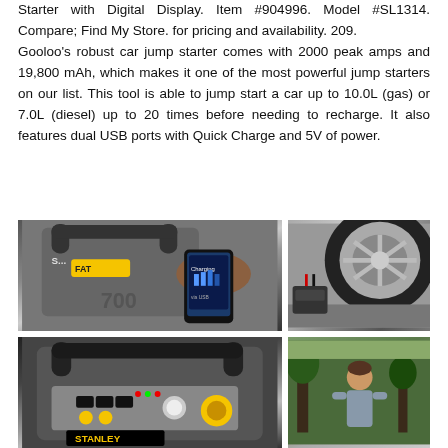Starter with Digital Display. Item #904996. Model #SL1314. Compare; Find My Store. for pricing and availability. 209. Gooloo's robust car jump starter comes with 2000 peak amps and 19,800 mAh, which makes it one of the most powerful jump starters on our list. This tool is able to jump start a car up to 10.0L (gas) or 7.0L (diesel) up to 20 times before needing to recharge. It also features dual USB ports with Quick Charge and 5V of power.
[Figure (photo): Photo of a Stanley jump starter device being used to charge a phone via USB, showing the device with its yellow accents and handle]
[Figure (photo): Photo of a Stanley jump starter device (bottom view) showing control panel with yellow knob, LED lights, and STANLEY branding]
[Figure (photo): Photo of a car tire/wheel with a jump starter device placed next to it on the ground with red and black clamps visible]
[Figure (photo): Photo of a person outdoors among trees, partially visible]